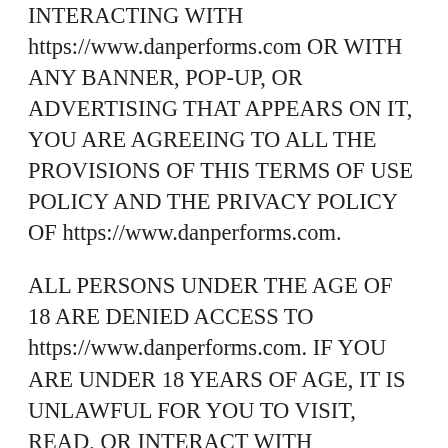INTERACTING WITH https://www.danperforms.com OR WITH ANY BANNER, POP-UP, OR ADVERTISING THAT APPEARS ON IT, YOU ARE AGREEING TO ALL THE PROVISIONS OF THIS TERMS OF USE POLICY AND THE PRIVACY POLICY OF https://www.danperforms.com.
ALL PERSONS UNDER THE AGE OF 18 ARE DENIED ACCESS TO https://www.danperforms.com. IF YOU ARE UNDER 18 YEARS OF AGE, IT IS UNLAWFUL FOR YOU TO VISIT, READ, OR INTERACT WITH https://www.danperforms.com OR ITS CONTENTS IN ANY MANNER.
https://www.danperforms.com SPECIFICALLY DENIES ACCESS TO ANY